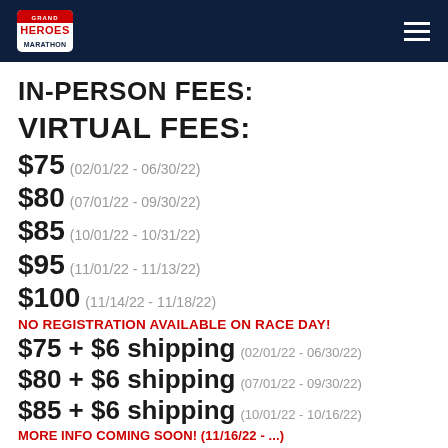Heroes Marathon
IN-PERSON FEES:
VIRTUAL FEES:
$75 (02/01/22 - 06/30/22)
$80 (07/01/22 - 09/30/22)
$85 (10/01/22 - 10/31/22)
$95 (11/01/22 - 11/13/22)
$100 (11/14/22 - 11/18/22)
NO REGISTRATION AVAILABLE ON RACE DAY!
$75 + $6 shipping (02/01/22 - 06/30/22)
$80 + $6 shipping (07/01/22 - 09/30/22)
$85 + $6 shipping (10/01/22 - 10/16/22)
MORE INFO COMING SOON! (11/16/22 - ...)